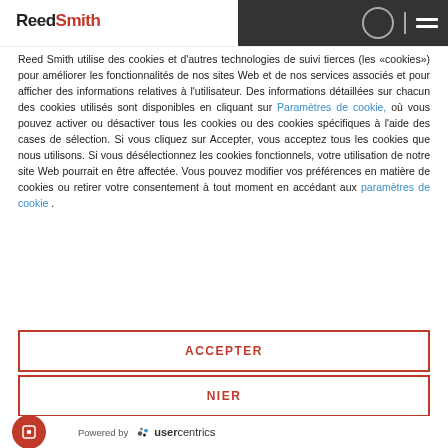Reed Smith
Reed Smith utilise des cookies et d'autres technologies de suivi tierces (les «cookies») pour améliorer les fonctionnalités de nos sites Web et de nos services associés et pour afficher des informations relatives à l'utilisateur. Des informations détaillées sur chacun des cookies utilisés sont disponibles en cliquant sur Paramètres de cookie, où vous pouvez activer ou désactiver tous les cookies ou des cookies spécifiques à l'aide des cases de sélection. Si vous cliquez sur Accepter, vous acceptez tous les cookies que nous utilisons. Si vous désélectionnez les cookies fonctionnels, votre utilisation de notre site Web pourrait en être affectée. Vous pouvez modifier vos préférences en matière de cookies ou retirer votre consentement à tout moment en accédant aux paramètres de cookie .
ACCEPTER
NIER
Powered by usercentrics